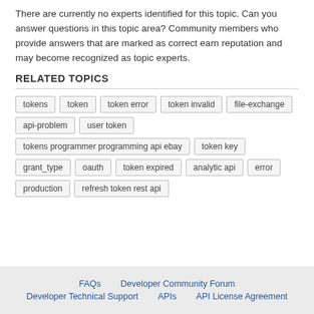There are currently no experts identified for this topic. Can you answer questions in this topic area? Community members who provide answers that are marked as correct earn reputation and may become recognized as topic experts.
RELATED TOPICS
tokens
token
token error
token invalid
file-exchange
api-problem
user token
tokens programmer programming api ebay
token key
grant_type
oauth
token expired
analytic api
error
production
refresh token rest api
FAQs   Developer Community Forum   Developer Technical Support   APIs   API License Agreement